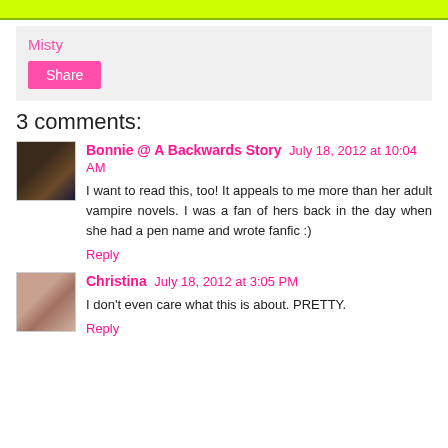Misty
Share
3 comments:
Bonnie @ A Backwards Story  July 18, 2012 at 10:04 AM
I want to read this, too! It appeals to me more than her adult vampire novels. I was a fan of hers back in the day when she had a pen name and wrote fanfic :)
Reply
Christina  July 18, 2012 at 3:05 PM
I don't even care what this is about. PRETTY.
Reply